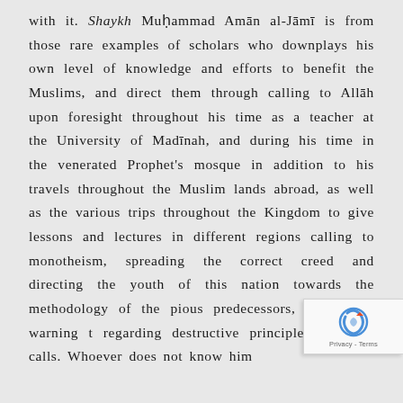with it. Shaykh Muḥammad Amān al-Jāmī is from those rare examples of scholars who downplays his own level of knowledge and efforts to benefit the Muslims, and direct them through calling to Allāh upon foresight throughout his time as a teacher at the University of Madīnah, and during his time in the venerated Prophet's mosque in addition to his travels throughout the Muslim lands abroad, as well as the various trips throughout the Kingdom to give lessons and lectures in different regions calling to monotheism, spreading the correct creed and directing the youth of this nation towards the methodology of the pious predecessors, while also warning t regarding destructive principles and dev calls. Whoever does not know him